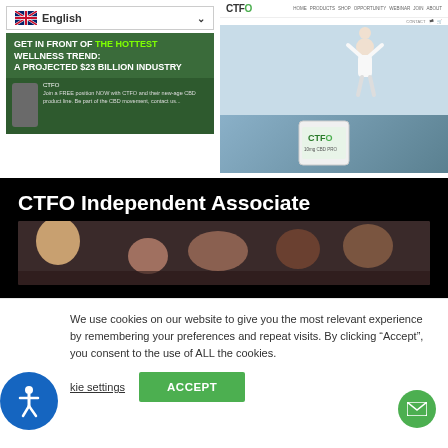[Figure (screenshot): Left screenshot showing English language dropdown and CTFO CBD ad banner saying GET IN FRONT OF THE HOTTEST WELLNESS TREND: A PROJECTED $23 BILLION INDUSTRY]
[Figure (screenshot): Right screenshot showing CTFO website with navigation header, lifestyle photo of person lifting child, and CTFO mobile app on phone]
CTFO Independent Associate
[Figure (photo): Photo of people in a crowd setting, dark background]
We use cookies on our website to give you the most relevant experience by remembering your preferences and repeat visits. By clicking “Accept”, you consent to the use of ALL the cookies.
Cookie settings
ACCEPT